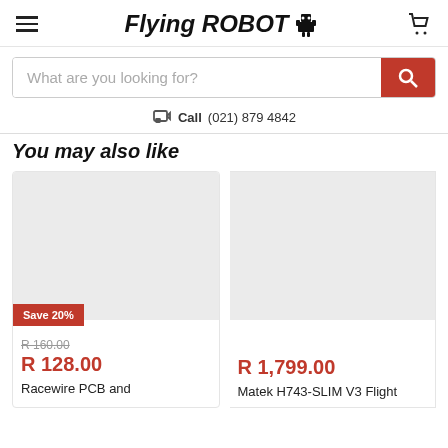Flying ROBOT
What are you looking for?
Call(021) 879 4842
You may also like
[Figure (screenshot): Product card showing a grey placeholder image with a red 'Save 20%' badge, original price R 160.00 struck through, sale price R 128.00 in red, and product name 'Racewire PCB and']
[Figure (screenshot): Product card showing a grey placeholder image, price R 1,799.00 in red, and product name 'Matek H743-SLIM V3 Flight']